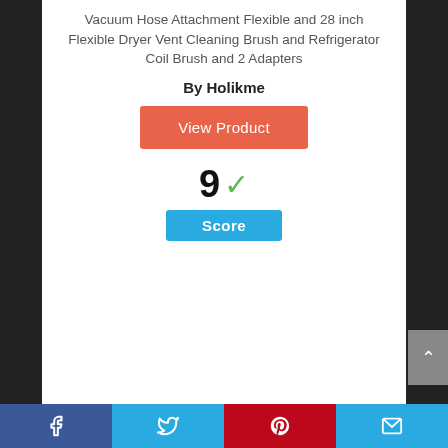Vacuum Hose Attachment Flexible and 28 inch Flexible Dryer Vent Cleaning Brush and Refrigerator Coil Brush and 2 Adapters
By Holikme
View Product
[Figure (infographic): Score display showing the number 9 with a green checkmark, and a blue 'Score' button below]
[Figure (infographic): A circular badge with the number 3 inside, outlined in blue]
Facebook | Twitter | Pinterest | Email social sharing bar